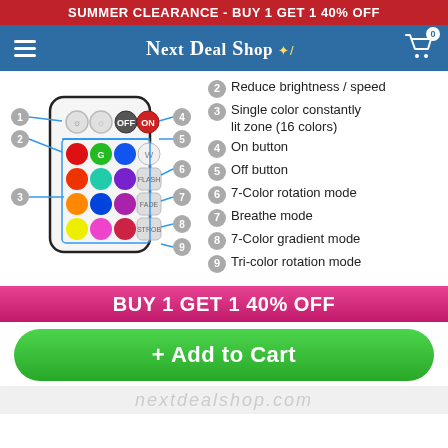SUMMER CLEARANCE - BUY 1 GET 1 40% OFF
NEXT DEAL SHOP
[Figure (infographic): Diagram of a remote control with numbered callouts 1-9 pointing to various buttons and zones on the remote.]
2  Reduce brightness / speed
3  Single color constantly lit zone (16 colors)
4  On button
5  Off button
6  7-Color rotation mode
7  Breathe mode
8  7-Color gradient mode
9  Tri-color rotation mode
BUY 1 GET 1 40% OFF
+ Add to Cart